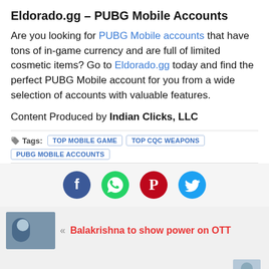Eldorado.gg – PUBG Mobile Accounts
Are you looking for PUBG Mobile accounts that have tons of in-game currency and are full of limited cosmetic items? Go to Eldorado.gg today and find the perfect PUBG Mobile account for you from a wide selection of accounts with valuable features.
Content Produced by Indian Clicks, LLC
Tags: TOP MOBILE GAME  TOP CQC WEAPONS  PUBG MOBILE ACCOUNTS
[Figure (infographic): Social media share buttons row: Facebook (blue circle), WhatsApp (green circle), Pinterest (red circle), Twitter (cyan circle)]
Balakrishna to show power on OTT
Most Eligible Bachelor pre release event on